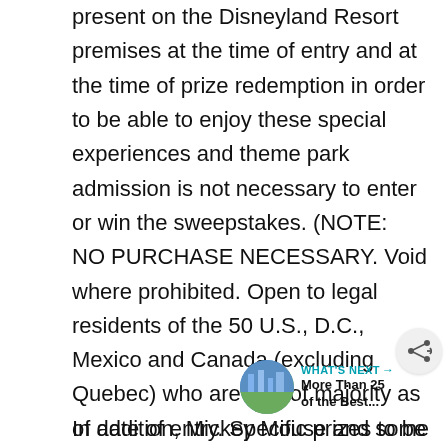present on the Disneyland Resort premises at the time of entry and at the time of prize redemption in order to be able to enjoy these special experiences and theme park admission is not necessary to enter or win the sweepstakes. (NOTE:  NO PURCHASE NECESSARY. Void where prohibited. Open to legal residents of the 50 U.S., D.C., Mexico and Canada (excluding Quebec) who are age of majority as of date of entry. Specific prizes to be awarded in the weekly sweepstakes will be announced online the week prior to being offered.)
[Figure (other): Share button icon (circular button with share/network icon)]
[Figure (other): What's Next card with circular thumbnail image of a city skyline and text 'WHAT'S NEXT → More Than 25 of the Best...']
In addition, Mickey Mouse and some of his